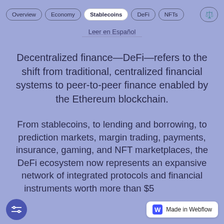Overview | Economy | Stablecoins | DeFi | NFTs | ⚖
Leer en Español
Decentralized finance—DeFi—refers to the shift from traditional, centralized financial systems to peer-to-peer finance enabled by the Ethereum blockchain.
From stablecoins, to lending and borrowing, to prediction markets, margin trading, payments, insurance, gaming, and NFT marketplaces, the DeFi ecosystem now represents an expansive network of integrated protocols and financial instruments worth more than $5 billion USD